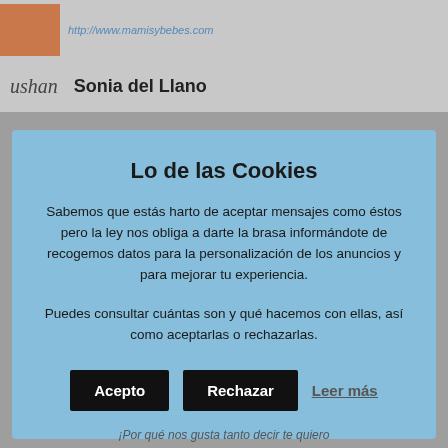http://www.mamisybebes.com
ushan   Sonia del Llano
Lo de las Cookies
Sabemos que estás harto de aceptar mensajes como éstos pero la ley nos obliga a darte la brasa informándote de recogemos datos para la personalización de los anuncios y para mejorar tu experiencia.
Puedes consultar cuántas son y qué hacemos con ellas, así como aceptarlas o rechazarlas.
Acepto   Rechazar   Leer más
¡Por qué nos gusta tanto decir te quiero